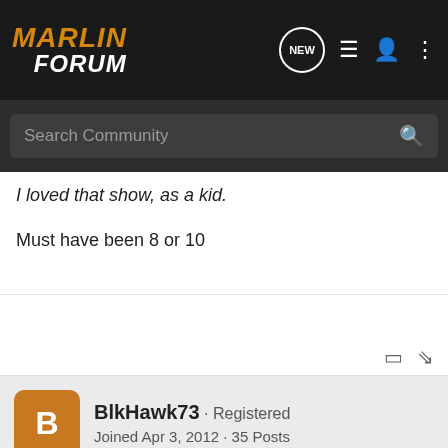MARLIN FORUM
I loved that show, as a kid.
Must have been 8 or 10
BlkHawk73 · Registered
Joined Apr 3, 2012 · 35 Posts
#18 · Mar 24, 2013
Friend o... ne! Not even go...
[Figure (screenshot): Bass Pro Shops ad banner: HIGHEST-RATED GEAR, rating 4.2 stars, with play button and meat grinder image]